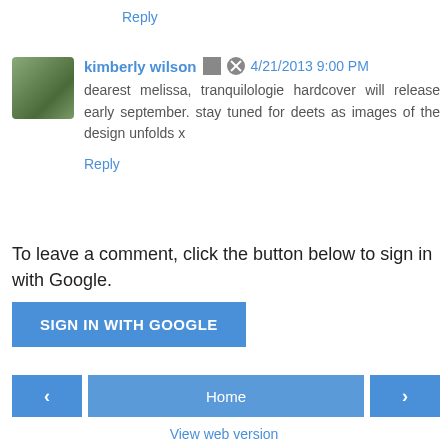Reply
kimberly wilson 4/21/2013 9:00 PM
dearest melissa, tranquilologie hardcover will release early september. stay tuned for deets as images of the design unfolds x
Reply
To leave a comment, click the button below to sign in with Google.
SIGN IN WITH GOOGLE
Home
View web version
Powered by Blogger.